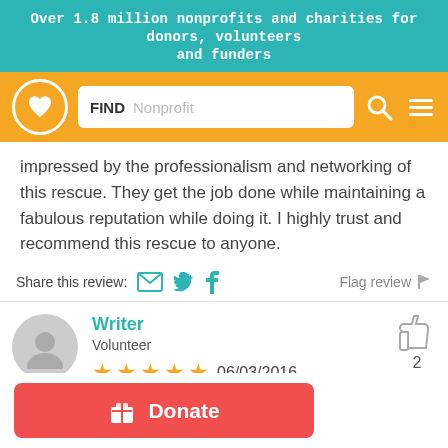Over 1.8 million nonprofits and charities for donors, volunteers and funders
[Figure (screenshot): Navigation bar with heart logo, FIND Nonprofit search box, search icon and hamburger menu icon on orange background]
impressed by the professionalism and networking of this rescue. They get the job done while maintaining a fabulous reputation while doing it. I highly trust and recommend this rescue to anyone.
Share this review: [email icon] [twitter icon] [facebook icon]    Flag review [flag icon]
Writer
Volunteer
★★★★★ 06/03/2016
[thumbs up] 2
[Figure (other): Donate button with gift icon]